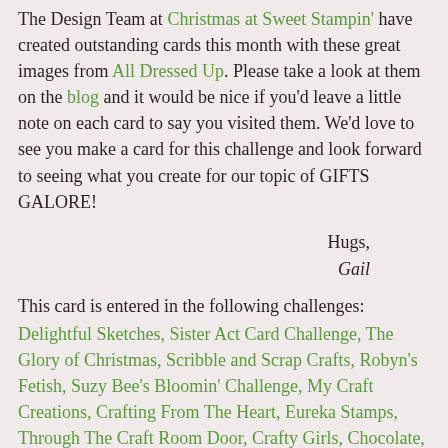The Design Team at Christmas at Sweet Stampin' have created outstanding cards this month with these great images from All Dressed Up. Please take a look at them on the blog and it would be nice if you'd leave a little note on each card to say you visited them. We'd love to see you make a card for this challenge and look forward to seeing what you create for our topic of GIFTS GALORE!
Hugs,
Gail
This card is entered in the following challenges:
Delightful Sketches, Sister Act Card Challenge, The Glory of Christmas, Scribble and Scrap Crafts, Robyn's Fetish, Suzy Bee's Bloomin' Challenge, My Craft Creations, Crafting From The Heart, Eureka Stamps, Through The Craft Room Door, Crafty Girls, Chocolate, Coffee & Cards, The Squirrel and the Fox, Fan-Tastic Tuesday, Christmas Cards All Year Around, Art by Miran, Craftyhazelnuts Christmas Challenge 2, Treasured Times, Stamping Sensations, Sparkle n Sprinkle, The Sisters of Craft, Winter Wonderland, Bearly Mine, Crafts Galore Encore, Craft-Dee Bowz, Stamp and Create, Crafty Calender, Die-cuttin Divas (pink/green fav combo), Deep